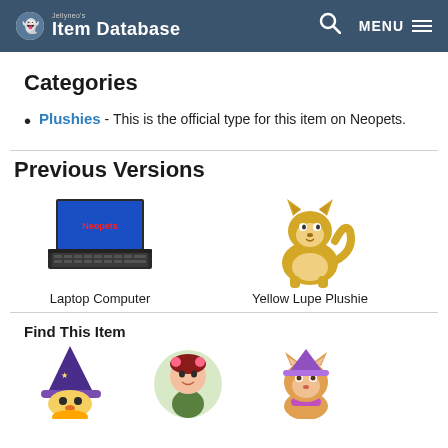Jellyneo's Item Database
Categories
Plushies - This is the official type for this item on Neopets.
Previous Versions
[Figure (illustration): Laptop Computer - old item version image]
[Figure (illustration): Yellow Lupe Plushie - old item version image]
Find This Item
[Figure (illustration): Wizard character icon]
[Figure (illustration): Fairy/elf character icon]
[Figure (illustration): Cat character icon]